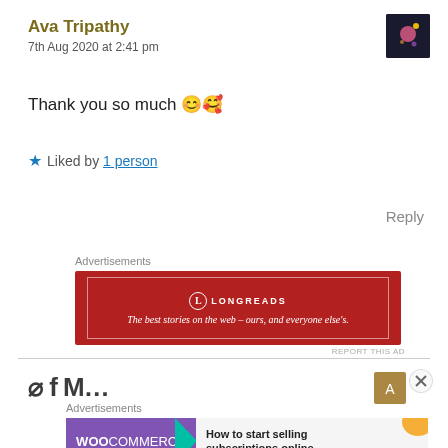Ava Tripathy
7th Aug 2020 at 2:41 pm
Thank you so much 😊😇
★ Liked by 1 person
Reply
Advertisements
[Figure (other): Longreads advertisement banner: red background with white border, Longreads logo and tagline 'The best stories on the web – ours, and everyone else's.']
Advertisements
[Figure (other): WooCommerce advertisement banner: purple left side with WooCommerce logo and teal arrow, right side text 'How to start selling subscriptions online' with orange and blue decorative shapes.]